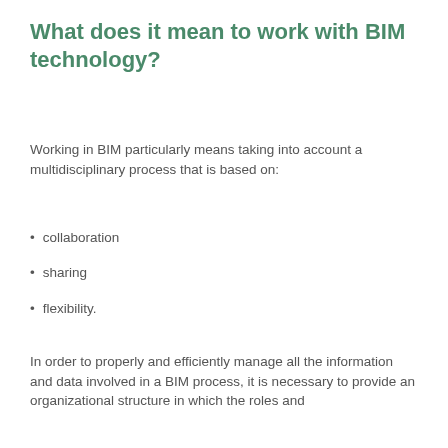What does it mean to work with BIM technology?
Working in BIM particularly means taking into account a multidisciplinary process that is based on:
collaboration
sharing
flexibility.
In order to properly and efficiently manage all the information and data involved in a BIM process, it is necessary to provide an organizational structure in which the roles and
By accessing and using our website services you implicitly accept the use of cookies to improve navigation and show content in line with your personal preferences. Read More
OK